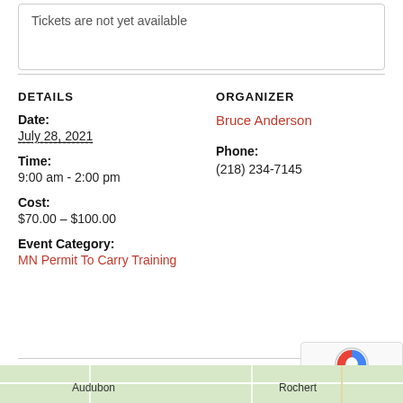Tickets are not yet available
DETAILS
ORGANIZER
Date:
July 28, 2021
Bruce Anderson
Time:
9:00 am - 2:00 pm
Phone:
(218) 234-7145
Cost:
$70.00 – $100.00
Event Category:
MN Permit To Carry Training
[Figure (map): Map showing Audubon and Rochert area]
[Figure (other): reCAPTCHA widget with Privacy and Terms links]